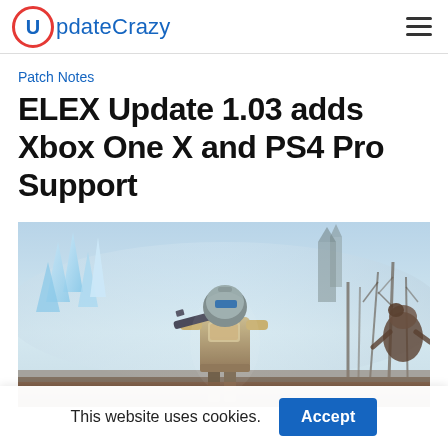UpdateCrazy
Patch Notes
ELEX Update 1.03 adds Xbox One X and PS4 Pro Support
[Figure (photo): ELEX game artwork showing armored protagonist with weapon in a fantasy/sci-fi landscape with icy structures and trees]
This website uses cookies. Accept